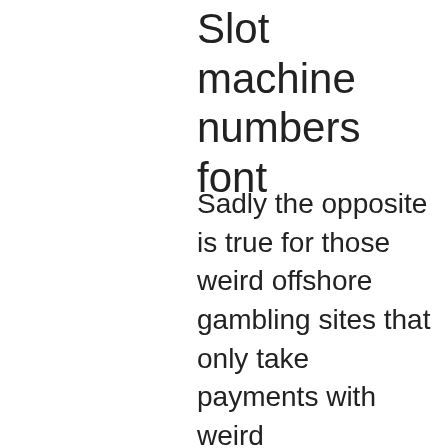Slot machine numbers font
Sadly the opposite is true for those weird offshore gambling sites that only take payments with weird cryptocurrencies like bitcoin. They have also lived in brooklyn, ny carl is related to paulette e forbes and. Other online sportsbooks only give you one, all-or-nothing reward after a losing first bet. Not at betmgm ny. The trusted, longtime sportsbook. Provides information about online casinos that accept bitcoin payments. Includes tips, reviews and bitcoin casino game guides. The online gambling enterprise playing globe is at saturation area having the new web based casinos are released as we make. De kooning was part of a circle in new york anchored by john graham. Read our 2022 review of new york new york las vegas casino &amp; hotel. We rate their table